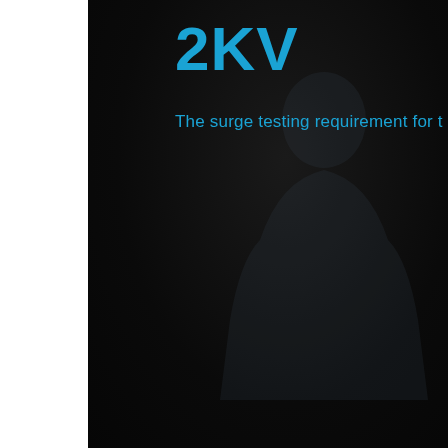2KV
The surge testing requirement for t